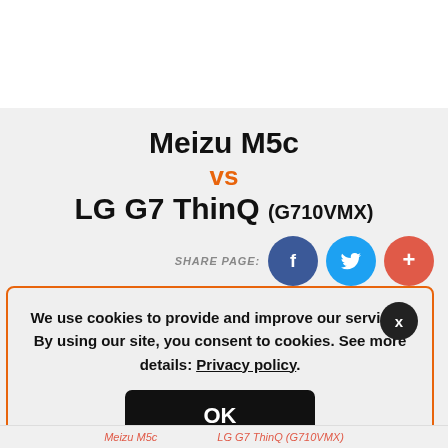Meizu M5c vs LG G7 ThinQ (G710VMX)
SHARE PAGE:
We use cookies to provide and improve our services. By using our site, you consent to cookies. See more details: Privacy policy.
OK